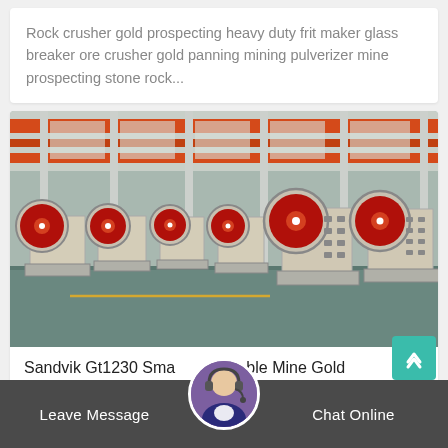Rock crusher gold prospecting heavy duty frit maker glass breaker ore crusher gold panning mining pulverizer mine prospecting stone rock...
[Figure (photo): Factory floor with multiple large jaw crusher machines arranged in rows, with red flywheels visible, industrial warehouse setting with orange steel framework overhead]
Sandvik Gt1230 Small Portable Mine Gold
Leave Message
Chat Online